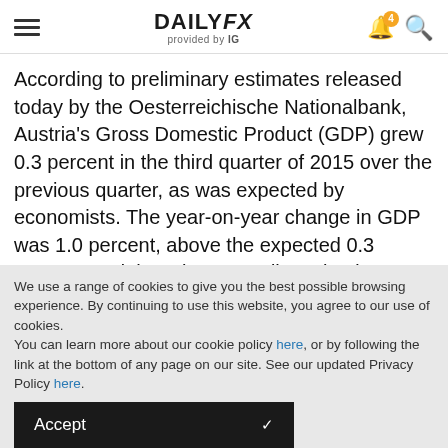DAILYFX provided by IG
According to preliminary estimates released today by the Oesterreichische Nationalbank, Austria's Gross Domestic Product (GDP) grew 0.3 percent in the third quarter of 2015 over the previous quarter, as was expected by economists. The year-on-year change in GDP was 1.0 percent, above the expected 0.3 percent, and the prior upwardly revised 0.7 percent, marking the highest growth rate since Q4 2013. Investment increased 1.4 percent from the prior Q2 reading of 1.1 percent, while external demand put downward
We use a range of cookies to give you the best possible browsing experience. By continuing to use this website, you agree to our use of cookies.
You can learn more about our cookie policy here, or by following the link at the bottom of any page on our site. See our updated Privacy Policy here.